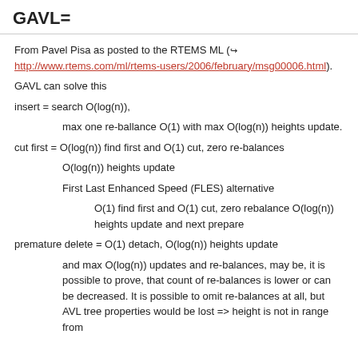GAVL=
From Pavel Pisa as posted to the RTEMS ML (→ http://www.rtems.com/ml/rtems-users/2006/february/msg00006.html).
GAVL can solve this
insert = search O(log(n)),
max one re-ballance O(1) with max O(log(n)) heights update.
cut first = O(log(n)) find first and O(1) cut, zero re-balances
O(log(n)) heights update
First Last Enhanced Speed (FLES) alternative
O(1) find first and O(1) cut, zero rebalance O(log(n)) heights update and next prepare
premature delete = O(1) detach, O(log(n)) heights update
and max O(log(n)) updates and re-balances, may be, it is possible to prove, that count of re-balances is lower or can be decreased. It is possible to omit re-balances at all, but AVL tree properties would be lost => height is not in range from